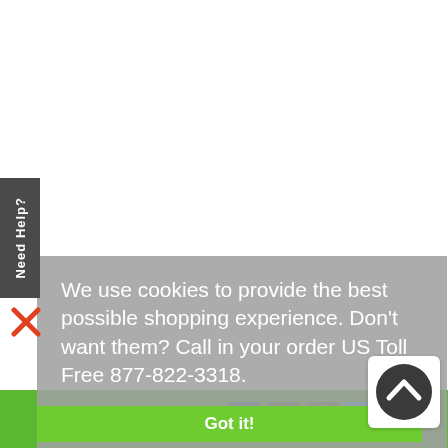Need Help?
We use cookies to provide the best possible shopping experience. Don't want them? Call in your order US Toll Free 877-822-3318.
Learn more
Got it!
Connect with Us: